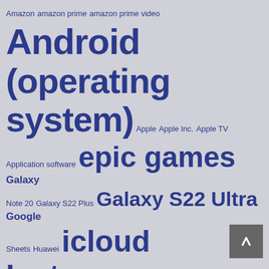[Figure (infographic): Tag cloud / word cloud with technology-related terms in varying font sizes, all in dark blue color on a light grey background. Larger words indicate higher frequency/importance. Terms include: Amazon, amazon prime, amazon prime video, Android (operating system), Apple, Apple Inc., Apple TV, Application software, epic games, Galaxy Note 20, Galaxy S22 Plus, Galaxy S22 Ultra, Google Sheets, Huawei, icloud, Instagram, instant gaming, ip address, iPhone, iphone 12, iphone 13, iphone 13 pro max, macOS, Microsoft, Mobile app, Mobile device, Motorola, office 365, outlook, Pixel 6, Samsung Galaxy, Samsung Galaxy Tab S8, Smartphone, speedtest, speed test, teams, tiktok, Twitter, Ubuntu, vpn, WhatsApp, whatsapp web, Windows 10, Windows 11 Release, Xiaomi]